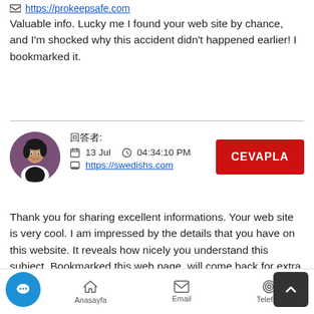https://prokeepsafe.com
Valuable info. Lucky me I found your web site by chance, and I'm shocked why this accident didn't happened earlier! I bookmarked it.
䤀攀爀椀: 13 Jul 04:34:10 PM https://swedishs.com
Thank you for sharing excellent informations. Your web site is very cool. I am impressed by the details that you have on this website. It reveals how nicely you understand this subject. Bookmarked this web page, will come back for extra articles. You, my friend, ROCK! I found just the info I already searched everywhere and simply could not come across. What a great site.
Anasayfa  Email  Telefon